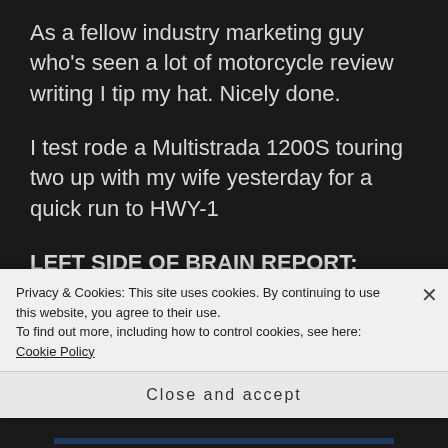As a fellow industry marketing guy who’s seen a lot of motorcycle review writing I tip my hat. Nicely done.
I test rode a Multistrada 1200S touring two up with my wife yesterday for a quick run to HWY-1
LEFT SIDE OF BRAIN REPORT: Riding two up the bike is still a serious performer. Touring mode is plush but both wife and I prefer sport mode. The
Privacy & Cookies: This site uses cookies. By continuing to use this website, you agree to their use.
To find out more, including how to control cookies, see here: Cookie Policy
Close and accept